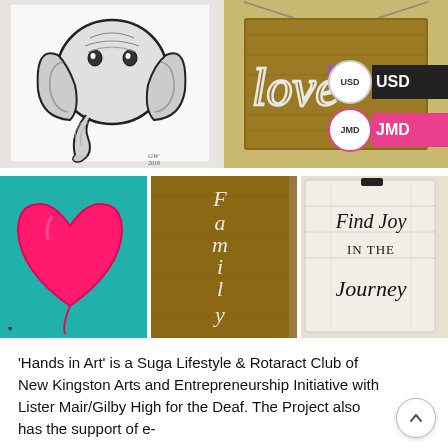[Figure (photo): Collage of 5 artworks: top-left: black and white elephant painting on white canvas signed GW 2016; top-right: wooden sign with 'love' written in cursive wire on warm yellow wood background; bottom-left: teal canvas with large pink/red heart painting; bottom-center: tall thin wooden plank with 'Family' written vertically in white script; bottom-right: white board sign reading 'Find Joy in the Journey' in black handwritten text displayed on a white wire rack. Currency badges USD and JMD overlay top-right corner.]
'Hands in Art' is a Suga Lifestyle & Rotaract Club of New Kingston Arts and Entrepreneurship Initiative with Lister Mair/Gilby High for the Deaf. The Project also has the support of e-